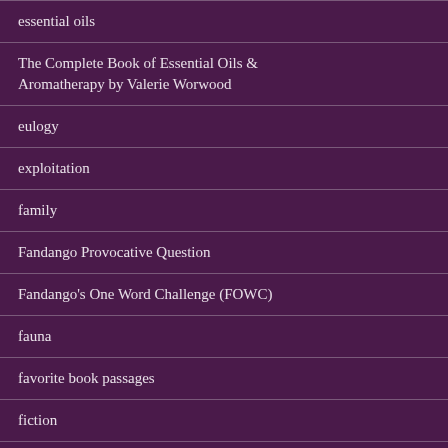essential oils
The Complete Book of Essential Oils & Aromatherapy by Valerie Worwood
eulogy
exploitation
family
Fandango Provocative Question
Fandango's One Word Challenge (FOWC)
fauna
favorite book passages
fiction